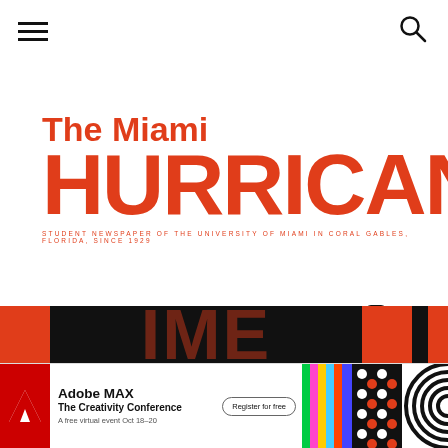[Figure (other): Hamburger menu icon (three horizontal lines) in top left corner]
[Figure (other): Search/magnifying glass icon in top right corner]
The Miami HURRICANE
STUDENT NEWSPAPER OF THE UNIVERSITY OF MIAMI IN CORAL GABLES, FLORIDA, SINCE 1929
[Figure (other): Social media icons: Facebook (f), Instagram (camera), Twitter (bird) in a row]
[Figure (other): Black banner with orange blocks and large faded text 'IMEI' style partial letters]
[Figure (other): Adobe MAX advertisement banner at the bottom: Adobe logo, 'Adobe MAX The Creativity Conference. A free virtual event Oct 18-20.' with 'Register for free' button and colorful pattern tiles]